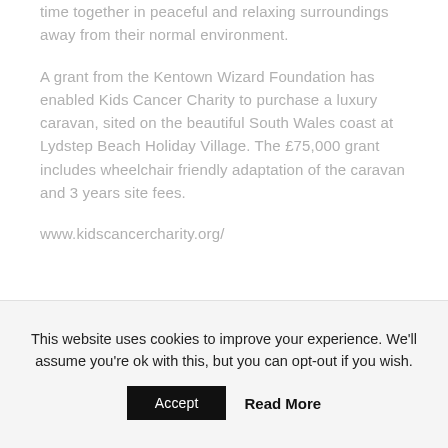time together in peaceful and relaxing surroundings away from their normal environment.

A grant from the Kentown Wizard Foundation has enabled Kids Cancer Charity to purchase a luxury caravan, sited on the beautiful South Wales coast at Lydstep Beach Holiday Village. The £75,000 grant includes wheelchair friendly adaptation of the caravan and 3 years site fees.

www.kidscancercharity.org/
This website uses cookies to improve your experience. We'll assume you're ok with this, but you can opt-out if you wish.
Accept   Read More